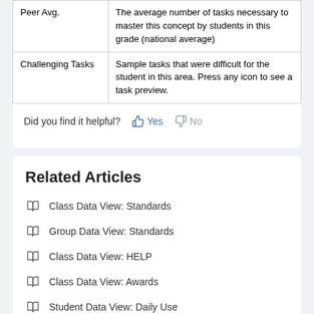|  |  |
| --- | --- |
| Peer Avg. | The average number of tasks necessary to master this concept by students in this grade (national average) |
| Challenging Tasks | Sample tasks that were difficult for the student in this area. Press any icon to see a task preview. |
Did you find it helpful?  👍 Yes  👎 No
Related Articles
Class Data View: Standards
Group Data View: Standards
Class Data View: HELP
Class Data View: Awards
Student Data View: Daily Use
Class Data View: Use and Progress
Student Data View: Summary